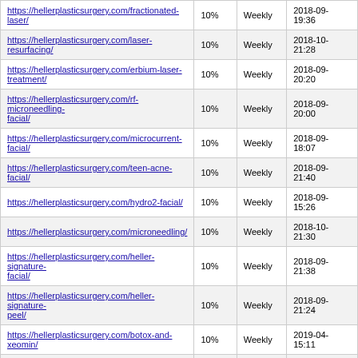| https://hellerplasticsurgery.com/fractionated-laser/ | 10% | Weekly | 2018-09-
19:36 |
| https://hellerplasticsurgery.com/laser-resurfacing/ | 10% | Weekly | 2018-10-
21:28 |
| https://hellerplasticsurgery.com/erbium-laser-treatment/ | 10% | Weekly | 2018-09-
20:20 |
| https://hellerplasticsurgery.com/rf-microneedling-facial/ | 10% | Weekly | 2018-09-
20:00 |
| https://hellerplasticsurgery.com/microcurrent-facial/ | 10% | Weekly | 2018-09-
18:07 |
| https://hellerplasticsurgery.com/teen-acne-facial/ | 10% | Weekly | 2018-09-
21:40 |
| https://hellerplasticsurgery.com/hydro2-facial/ | 10% | Weekly | 2018-09-
15:26 |
| https://hellerplasticsurgery.com/microneedling/ | 10% | Weekly | 2018-10-
21:30 |
| https://hellerplasticsurgery.com/heller-signature-facial/ | 10% | Weekly | 2018-09-
21:38 |
| https://hellerplasticsurgery.com/heller-signature-peel/ | 10% | Weekly | 2018-09-
21:24 |
| https://hellerplasticsurgery.com/botox-and-xeomin/ | 10% | Weekly | 2019-04-
15:11 |
| https://hellerplasticsurgery.com/laser-skin-resurfacing/ | 10% | Weekly | 2018-09-
15:36 |
|  |  |  | 2018-09- |